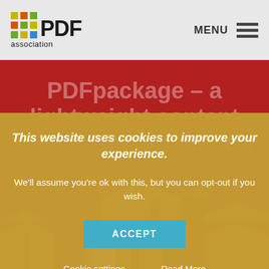[Figure (logo): PDF Association logo with colorful grid squares and bold PDF text above 'association']
[Figure (infographic): Hamburger menu icon with MENU label]
[Figure (illustration): Red background with cardboard boxes and PDF document illustration]
PDFpackage – a lightweight content management platform
This website uses cookies to improve your experience.
We'll assume you're ok with this, but you can opt-out if you wish.
ACCEPT
Cookie settings
Read More